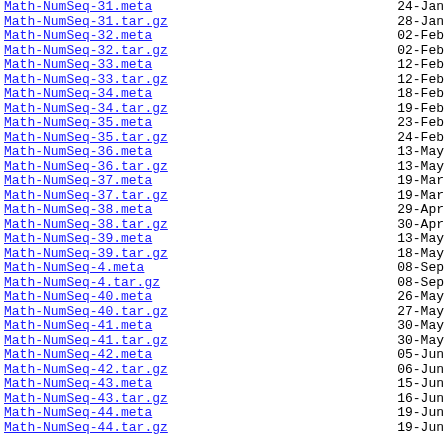Math-NumSeq-31.meta    24-Jan
Math-NumSeq-31.tar.gz  28-Jan
Math-NumSeq-32.meta    02-Feb
Math-NumSeq-32.tar.gz  02-Feb
Math-NumSeq-33.meta    12-Feb
Math-NumSeq-33.tar.gz  12-Feb
Math-NumSeq-34.meta    18-Feb
Math-NumSeq-34.tar.gz  19-Feb
Math-NumSeq-35.meta    23-Feb
Math-NumSeq-35.tar.gz  24-Feb
Math-NumSeq-36.meta    13-May
Math-NumSeq-36.tar.gz  13-May
Math-NumSeq-37.meta    19-Mar
Math-NumSeq-37.tar.gz  19-Mar
Math-NumSeq-38.meta    29-Apr
Math-NumSeq-38.tar.gz  30-Apr
Math-NumSeq-39.meta    13-May
Math-NumSeq-39.tar.gz  18-May
Math-NumSeq-4.meta     08-Sep
Math-NumSeq-4.tar.gz   08-Sep
Math-NumSeq-40.meta    26-May
Math-NumSeq-40.tar.gz  27-May
Math-NumSeq-41.meta    30-May
Math-NumSeq-41.tar.gz  30-May
Math-NumSeq-42.meta    05-Jun
Math-NumSeq-42.tar.gz  06-Jun
Math-NumSeq-43.meta    15-Jun
Math-NumSeq-43.tar.gz  16-Jun
Math-NumSeq-44.meta    19-Jun
Math-NumSeq-44.tar.gz  19-Jun